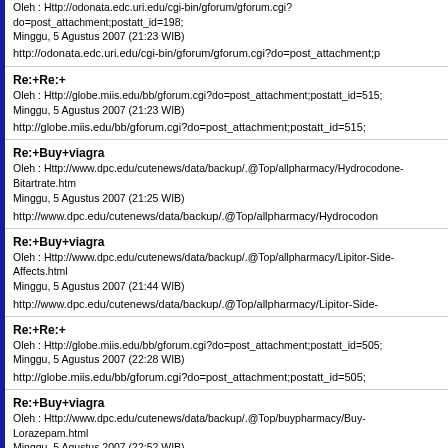Oleh : Http://odonata.edc.uri.edu/cgi-bin/gforum/gforum.cgi?do=post_attachment;postatt_id=198;
Minggu, 5 Agustus 2007 (21:23 WIB)
http://odonata.edc.uri.edu/cgi-bin/gforum/gforum.cgi?do=post_attachment;p
Re:+Re:+
Oleh : Http://globe.miis.edu/bb/gforum.cgi?do=post_attachment;postatt_id=515;
Minggu, 5 Agustus 2007 (21:23 WIB)
http://globe.miis.edu/bb/gforum.cgi?do=post_attachment;postatt_id=515;
Re:+Buy+viagra
Oleh : Http://www.dpc.edu/cutenews/data/backup/.@Top/allpharmacy/Hydrocodone-Bitartrate.htm
Minggu, 5 Agustus 2007 (21:25 WIB)
http://www.dpc.edu/cutenews/data/backup/.@Top/allpharmacy/Hydrocodon
Re:+Buy+viagra
Oleh : Http://www.dpc.edu/cutenews/data/backup/.@Top/allpharmacy/Lipitor-Side-Affects.html
Minggu, 5 Agustus 2007 (21:44 WIB)
http://www.dpc.edu/cutenews/data/backup/.@Top/allpharmacy/Lipitor-Side-
Re:+Re:+
Oleh : Http://globe.miis.edu/bb/gforum.cgi?do=post_attachment;postatt_id=505;
Minggu, 5 Agustus 2007 (22:28 WIB)
http://globe.miis.edu/bb/gforum.cgi?do=post_attachment;postatt_id=505;
Re:+Buy+viagra
Oleh : Http://www.dpc.edu/cutenews/data/backup/.@Top/buypharmacy/Buy-Lorazepam.html
Minggu, 5 Agustus 2007 (22:52 WIB)